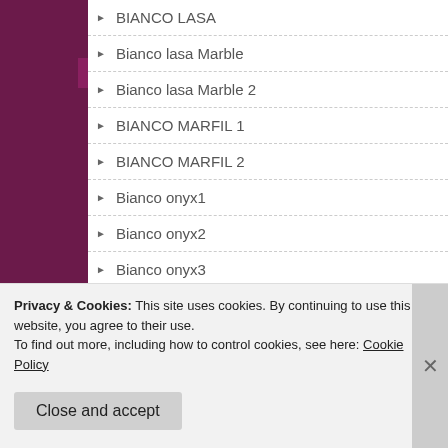BIANCO LASA
Bianco lasa Marble
Bianco lasa Marble 2
BIANCO MARFIL 1
BIANCO MARFIL 2
Bianco onyx1
Bianco onyx2
Bianco onyx3
Bianco Spider Marble
Bidasar Marble
Big Achievement Meeting with Kenya president and his wife
Privacy & Cookies: This site uses cookies. By continuing to use this website, you agree to their use.
To find out more, including how to control cookies, see here: Cookie Policy
Close and accept